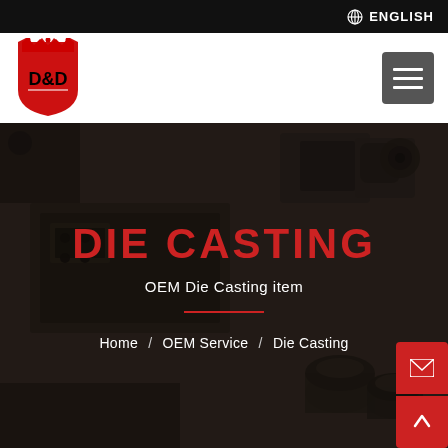ENGLISH
[Figure (logo): D&D company logo — red shield shape with a crown on top and D&D text in black]
[Figure (photo): Dark industrial background showing die casting metal parts and hardware components]
DIE CASTING
OEM Die Casting item
Home / OEM Service / Die Casting